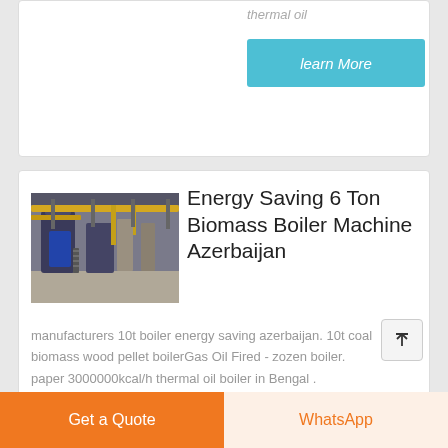thermal oil
learn More
[Figure (photo): Industrial biomass boiler facility with large tanks and yellow piping]
Energy Saving 6 Ton Biomass Boiler Machine Azerbaijan
manufacturers 10t boiler energy saving azerbaijan. 10t coal biomass wood pellet boilerGas Oil Fired - zozen boiler. paper 3000000kcal/h thermal oil boiler in Bengal .
Get a Quote
WhatsApp